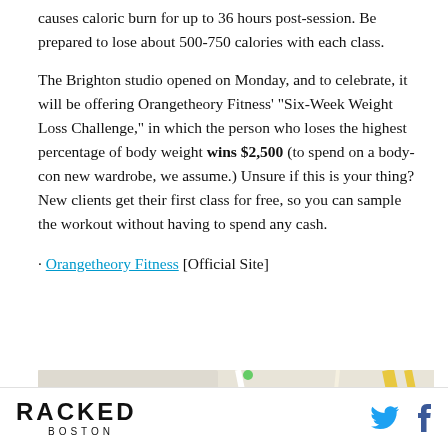causes caloric burn for up to 36 hours post-session. Be prepared to lose about 500-750 calories with each class.
The Brighton studio opened on Monday, and to celebrate, it will be offering Orangetheory Fitness' "Six-Week Weight Loss Challenge," in which the person who loses the highest percentage of body weight wins $2,500 (to spend on a body-con new wardrobe, we assume.) Unsure if this is your thing? New clients get their first class for free, so you can sample the workout without having to spend any cash.
· Orangetheory Fitness [Official Site]
[Figure (map): Map showing Oak Square area with a pink location pin marker]
RACKED BOSTON